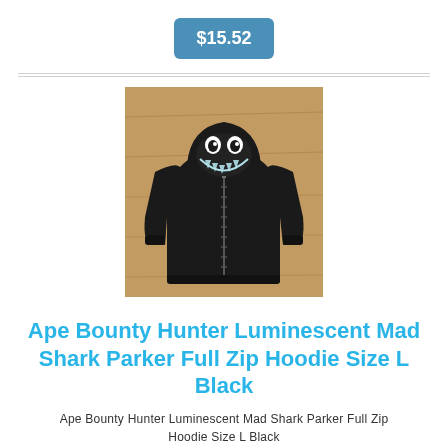$15.52
[Figure (photo): Black BAPE shark hoodie with luminescent glow-in-dark shark face on hood, laid flat on wood floor]
Ape Bounty Hunter Luminescent Mad Shark Parker Full Zip Hoodie Size L Black
Ape Bounty Hunter Luminescent Mad Shark Parker Full Zip Hoodie Size L Black